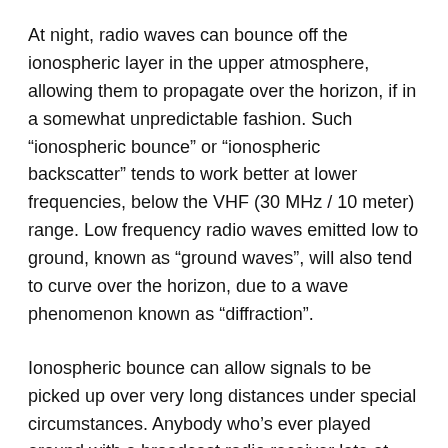At night, radio waves can bounce off the ionospheric layer in the upper atmosphere, allowing them to propagate over the horizon, if in a somewhat unpredictable fashion. Such “ionospheric bounce” or “ionospheric backscatter” tends to work better at lower frequencies, below the VHF (30 MHz / 10 meter) range. Low frequency radio waves emitted low to ground, known as “ground waves”, will also tend to curve over the horizon, due to a wave phenomenon known as “diffraction”.
Ionospheric bounce can allow signals to be picked up over very long distances under special circumstances. Anybody who’s ever played around with a broadcast radio receiver late at night knows remote stations can be picked up, sometimes from very far away. A condition known as “ducting” can also arise where the signal bounces down from a high atmospheric layer and then bounces back up again at a lower